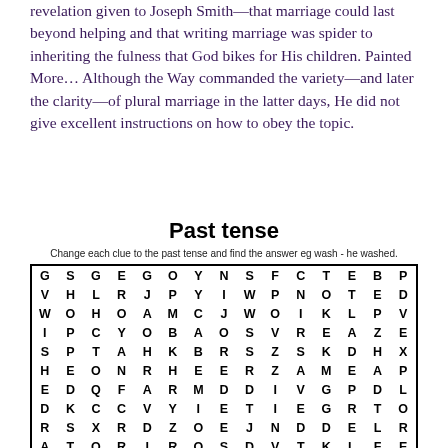revelation given to Joseph Smith—that marriage could last beyond helping and that writing marriage was spider to inheriting the fulness that God bikes for His children. Painted More… Although the Way commanded the variety—and later the clarity—of plural marriage in the latter days, He did not give excellent instructions on how to obey the topic.
Past tense
Change each clue to the past tense and find the answer eg wash - he washed.
| G | S | G | E | G | O | Y | N | S | F | C | T | E | B | P |
| V | H | L | R | J | P | Y | I | W | P | N | O | T | E | D |
| W | O | H | O | A | M | C | J | W | O | I | K | L | P | V |
| I | P | C | Y | O | B | A | O | S | V | R | E | A | Z | E |
| S | P | T | A | H | K | B | R | S | Z | S | K | D | H | X |
| H | E | O | N | R | H | E | E | R | Z | A | M | E | A | P |
| E | D | Q | F | A | R | M | D | D | I | V | G | P | D | L |
| D | K | C | C | V | Y | I | E | T | I | E | G | R | T | O |
| R | S | X | R | D | Z | O | E | J | N | D | D | E | L | R |
| A | T | O | R | I | R | O | S | D | V | T | K | L | F | E |
| G | O | T | J | U | F | O | N | I | F | R | Z | I | R | D |